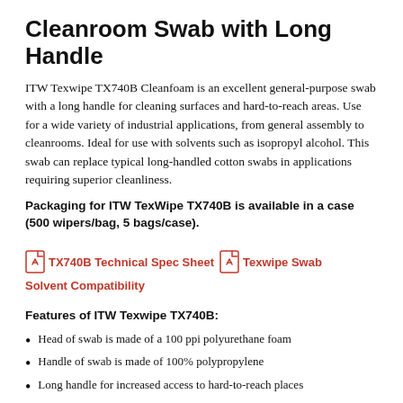Cleanroom Swab with Long Handle
ITW Texwipe TX740B Cleanfoam is an excellent general-purpose swab with a long handle for cleaning surfaces and hard-to-reach areas. Use for a wide variety of industrial applications, from general assembly to cleanrooms. Ideal for use with solvents such as isopropyl alcohol. This swab can replace typical long-handled cotton swabs in applications requiring superior cleanliness.
Packaging for ITW TexWipe TX740B is available in a case (500 wipers/bag, 5 bags/case).
[Figure (other): Two PDF icons linking to TX740B Technical Spec Sheet and Texwipe Swab Solvent Compatibility documents]
Features of ITW Texwipe TX740B:
Head of swab is made of a 100 ppi polyurethane foam
Handle of swab is made of 100% polypropylene
Long handle for increased access to hard-to-reach places
Excellent chemical resistance for compatibility with a